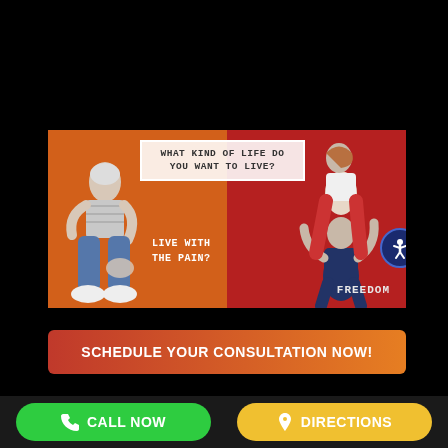[Figure (infographic): Split banner ad: left side orange background with seated elderly man holding his knee, text 'LIVE WITH THE PAIN?'; right side red background with couple embracing/dancing, text 'FREEDOM'; white speech bubble overlay asking 'WHAT KIND OF LIFE DO YOU WANT TO LIVE?'; accessibility icon circle bottom right.]
SCHEDULE YOUR CONSULTATION NOW!
CALL NOW
DIRECTIONS